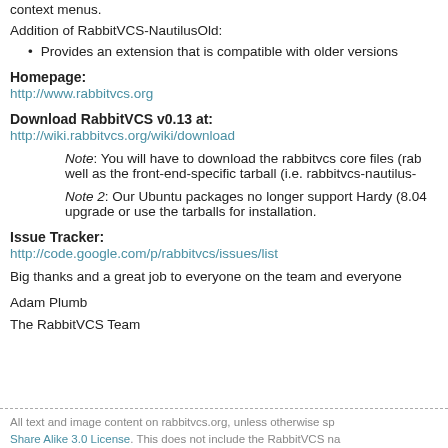context menus.
Addition of RabbitVCS-NautilusOld:
Provides an extension that is compatible with older versions
Homepage:
http://www.rabbitvcs.org
Download RabbitVCS v0.13 at:
http://wiki.rabbitvcs.org/wiki/download
Note: You will have to download the rabbitvcs core files (rab as well as the front-end-specific tarball (i.e. rabbitvcs-nautilus-
Note 2: Our Ubuntu packages no longer support Hardy (8.04 upgrade or use the tarballs for installation.
Issue Tracker:
http://code.google.com/p/rabbitvcs/issues/list
Big thanks and a great job to everyone on the team and everyone
Adam Plumb
The RabbitVCS Team
All text and image content on rabbitvcs.org, unless otherwise sp Share Alike 3.0 License. This does not include the RabbitVCS na